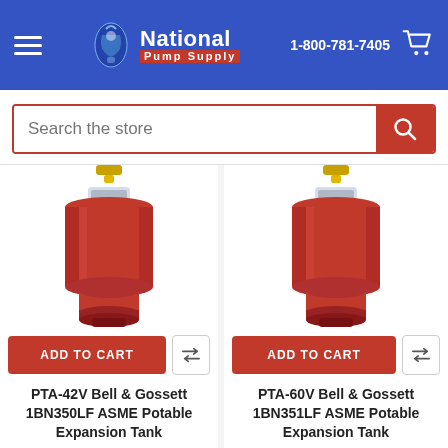[Figure (screenshot): National Pump Supply website header with hamburger menu, logo, phone number 1-800-781-7405, and cart icon on blue background]
[Figure (screenshot): Search bar with placeholder text 'Search the store' and red search button]
[Figure (photo): Red cylindrical expansion tank product image for PTA-42V Bell & Gossett 1BN350LF]
ADD TO CART
PTA-42V Bell & Gossett 1BN350LF ASME Potable Expansion Tank
Bell & Gossett
$2,910.95
[Figure (photo): Red cylindrical expansion tank product image for PTA-60V Bell & Gossett 1BN351LF]
ADD TO CART
PTA-60V Bell & Gossett 1BN351LF ASME Potable Expansion Tank
Bell & Gossett
$3,755.95